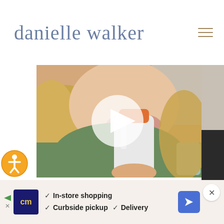danielle walker
[Figure (screenshot): Website screenshot of daniellewalker.com showing a video thumbnail of a woman with blonde hair holding a white bottle with an orange cap, with a play button overlay. Below is an advertisement banner for CM with text: In-store shopping, Curbside pickup, Delivery.]
In-store shopping
Curbside pickup  Delivery